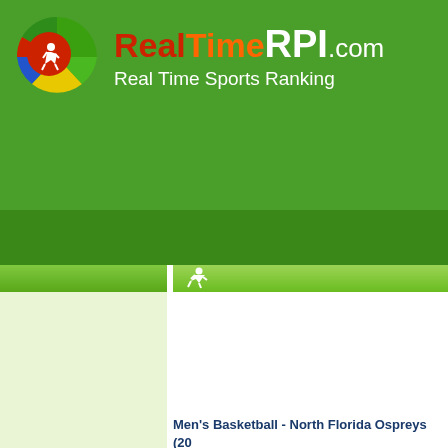RealTimeRPI.com - Real Time Sports Ranking
[Figure (logo): RealTimeRPI.com logo with circular sport icon (soccer/running figure) in red, green, yellow, blue segments; site name in red/orange/white text with tagline 'Real Time Sports Ranking' in white]
Men's Basketball - North Florida Ospreys (20